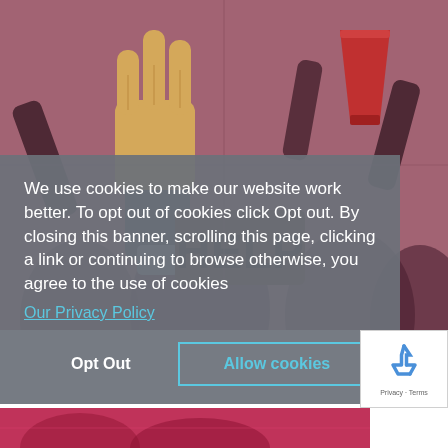[Figure (illustration): Illustrated crowd scene with hands raised holding items, and a sign reading HELP, in muted purple-red tones]
We use cookies to make our website work better. To opt out of cookies click Opt out. By closing this banner, scrolling this page, clicking a link or continuing to browse otherwise, you agree to the use of cookies
Our Privacy Policy
Opt Out
Allow cookies
[Figure (logo): Google reCAPTCHA badge with recycle-arrows icon and Privacy - Terms text]